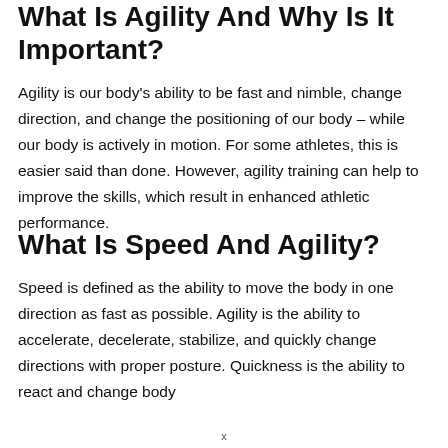What Is Agility And Why Is It Important?
Agility is our body’s ability to be fast and nimble, change direction, and change the positioning of our body – while our body is actively in motion. For some athletes, this is easier said than done. However, agility training can help to improve the skills, which result in enhanced athletic performance.
What Is Speed And Agility?
Speed is defined as the ability to move the body in one direction as fast as possible. Agility is the ability to accelerate, decelerate, stabilize, and quickly change directions with proper posture. Quickness is the ability to react and change body